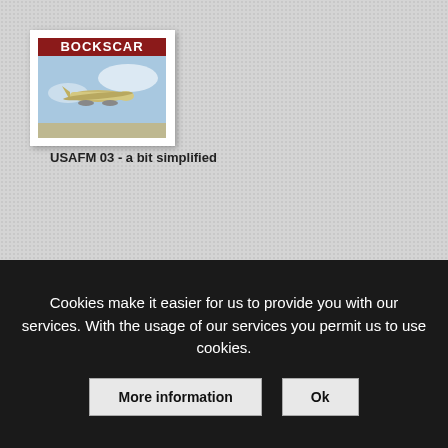[Figure (photo): A framed picture or display showing an aircraft (military plane) against a blue sky background, with a red banner at top reading 'BOCKSCAR']
USAFM 03 - a bit simplified
[Figure (photo): Partially visible second image at bottom, appears to show a dark brown/bronze object]
Cookies make it easier for us to provide you with our services. With the usage of our services you permit us to use cookies.
More information
Ok